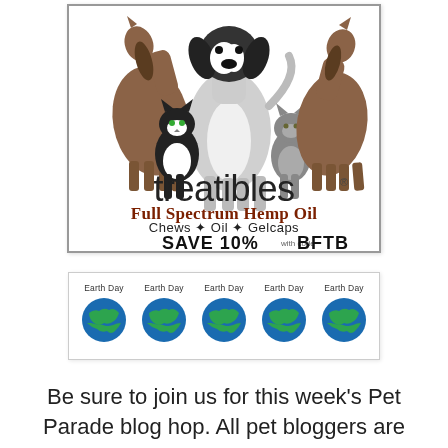[Figure (logo): Treatibles advertisement showing silhouettes of a horse, dog, cat, and another horse/cat, with brand name 'treatibles' in large text, 'Full Spectrum Hemp Oil' in red/brown, 'Chews + Oil + Gelcaps', and 'SAVE 10% with code BFTB']
[Figure (illustration): Five Earth Day globe emoji icons in a row, each with 'Earth Day' label above them. Green and blue globe illustrations.]
Be sure to join us for this week's Pet Parade blog hop. All pet bloggers are